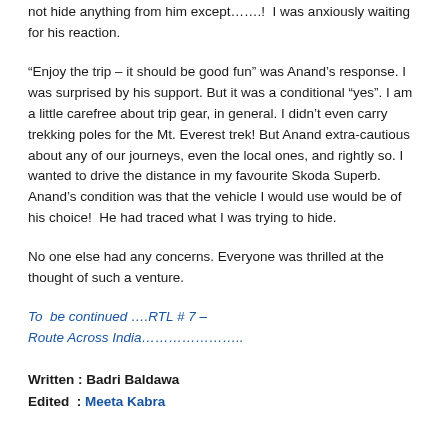not hide anything from him except…….!  I was anxiously waiting for his reaction.
“Enjoy the trip – it should be good fun” was Anand’s response. I was surprised by his support. But it was a conditional “yes”. I am a little carefree about trip gear, in general. I didn’t even carry trekking poles for the Mt. Everest trek! But Anand extra-cautious about any of our journeys, even the local ones, and rightly so. I wanted to drive the distance in my favourite Skoda Superb.  Anand’s condition was that the vehicle I would use would be of his choice!  He had traced what I was trying to hide.
No one else had any concerns. Everyone was thrilled at the thought of such a venture.
To  be continued ….RTL # 7 – Route Across India…………………..
Written : Badri Baldawa
Edited  : Meeta Kabra